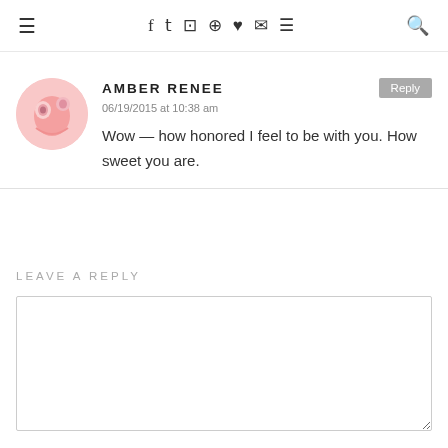≡  f  𝓣  📷  𝗽  ♥  ✉  )))  🔍
[Figure (illustration): Circular avatar with pink background featuring a cartoon character illustration]
AMBER RENEE
06/19/2015 at 10:38 am
Wow — how honored I feel to be with you. How sweet you are.
LEAVE A REPLY
Name *